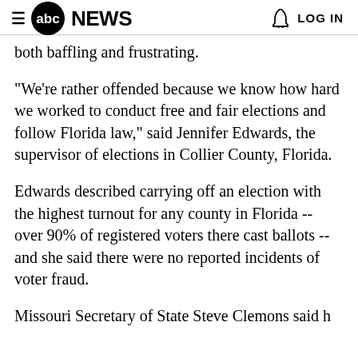≡ abcNEWS   🔔 LOG IN
both baffling and frustrating.
"We're rather offended because we know how hard we worked to conduct free and fair elections and follow Florida law," said Jennifer Edwards, the supervisor of elections in Collier County, Florida.
Edwards described carrying off an election with the highest turnout for any county in Florida -- over 90% of registered voters there cast ballots -- and she said there were no reported incidents of voter fraud.
Missouri Secretary of State Steve Clemons said he